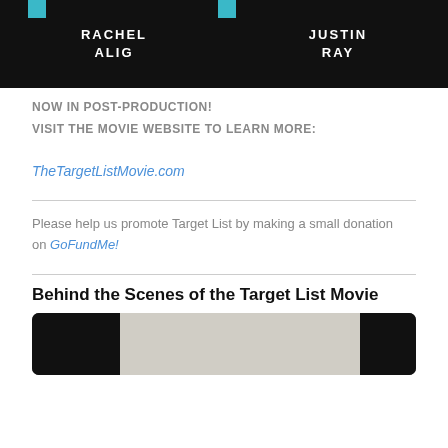[Figure (photo): Black banner with names RACHEL ALIG and JUSTIN RAY in white bold uppercase letters, with small teal accent squares at top]
NOW IN POST-PRODUCTION!
VISIT THE MOVIE WEBSITE TO LEARN MORE:
TheTargetListMovie.com
Please help us promote Target List by making a small donation on GoFundMe!
Behind the Scenes of the Target List Movie
[Figure (screenshot): Bottom of page showing dark video thumbnail with black sides and a lighter center showing a behind the scenes image]